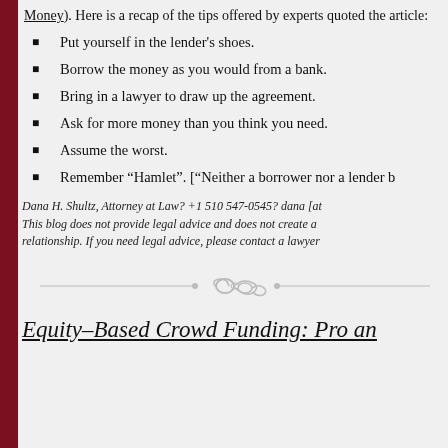Money). Here is a recap of the tips offered by experts quoted the article:
Put yourself in the lender’s shoes.
Borrow the money as you would from a bank.
Bring in a lawyer to draw up the agreement.
Ask for more money than you think you need.
Assume the worst.
Remember “Hamlet”. [“Neither a borrower nor a lender b
Dana H. Shultz, Attorney at Law? +1 510 547-0545? dana [at... This blog does not provide legal advice and does not create a relationship. If you need legal advice, please contact a lawyer
[Figure (illustration): Ornamental divider with decorative scroll/flourish in center and horizontal lines on each side]
Equity-Based Crowd Funding: Pro and